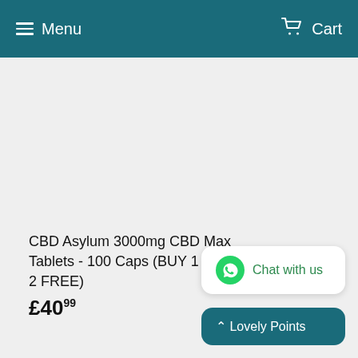Menu  Cart
CBD Asylum 3000mg CBD Max Tablets - 100 Caps (BUY 1 GET 2 FREE)
£40.99
Chat with us
Lovely Points